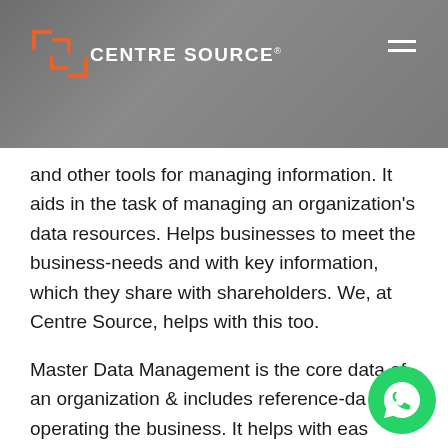[Figure (logo): Centre Source logo with orange bracket icon and white text on grey header background, with hamburger menu icon top right]
and other tools for managing information. It aids in the task of managing an organization's data resources. Helps businesses to meet the business-needs and with key information, which they share with shareholders. We, at Centre Source, helps with this too.
Master Data Management is the core data of an organization & includes reference-da... operating the business. It helps with eas... governance, measurement, organization, policy, process & technology that encompass the traits of the core data in an enterprise.
[Figure (other): Green WhatsApp circular button icon in the bottom right area]